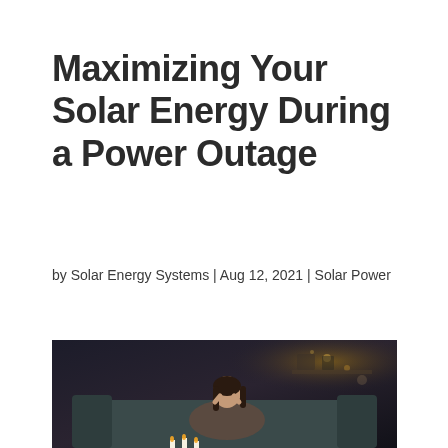Maximizing Your Solar Energy During a Power Outage
by Solar Energy Systems | Aug 12, 2021 | Solar Power
[Figure (photo): A woman sitting on a sofa in a dimly lit room during a power outage, resting her head in her hands, with candles on the table in front of her and ambient lights in the background.]